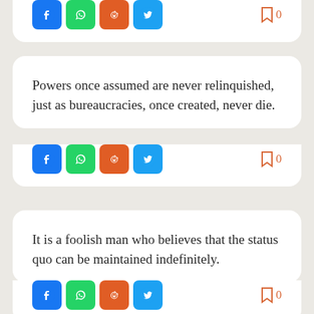[Figure (screenshot): Partial top card with social share icons (Facebook, WhatsApp, Reddit, Twitter) and bookmark count of 0]
Powers once assumed are never relinquished, just as bureaucracies, once created, never die.
[Figure (screenshot): Social share icons (Facebook, WhatsApp, Reddit, Twitter) and bookmark count of 0]
It is a foolish man who believes that the status quo can be maintained indefinitely.
[Figure (screenshot): Social share icons (Facebook, WhatsApp, Reddit, Twitter) and bookmark count of 0]